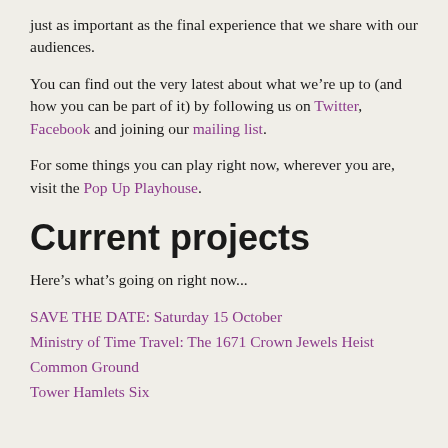just as important as the final experience that we share with our audiences.
You can find out the very latest about what we're up to (and how you can be part of it) by following us on Twitter, Facebook and joining our mailing list.
For some things you can play right now, wherever you are, visit the Pop Up Playhouse.
Current projects
Here's what's going on right now...
SAVE THE DATE: Saturday 15 October
Ministry of Time Travel: The 1671 Crown Jewels Heist
Common Ground
Tower Hamlets Six